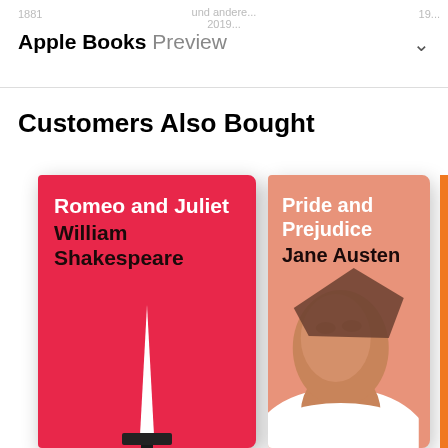Apple Books Preview
Customers Also Bought
[Figure (illustration): Book cover: Romeo and Juliet by William Shakespeare, pink/red cover with white dagger illustration]
[Figure (illustration): Book cover: Pride and Prejudice by Jane Austen, salmon/peach cover with portrait face illustration]
[Figure (illustration): Partial book cover in orange, third book partially visible]